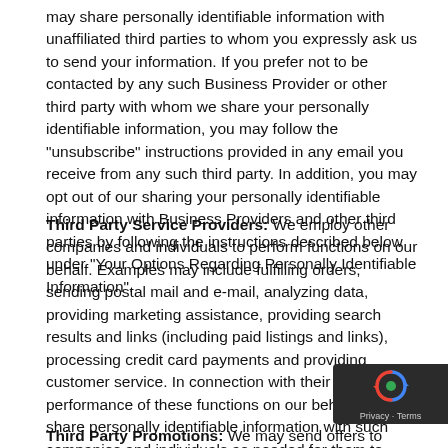may share personally identifiable information with unaffiliated third parties to whom you expressly ask us to send your information. If you prefer not to be contacted by any such Business Provider or other third party with whom we share your personally identifiable information, you may follow the "unsubscribe" instructions provided in any email you receive from any such third party. In addition, you may opt out of our sharing your personally identifiable information with Business Providers and other third parties by following the instructions described below under "Your Options Regarding Personally Identifiable Information".
Third Party Service Providers: We employ other companies and individuals to perform functions on our behalf. Examples may include fulfilling orders, sending postal mail and e-mail, analyzing data, providing marketing assistance, providing search results and links (including paid listings and links), processing credit card payments and providing customer service. In connection with their performance of these functions on our behalf, we may share personally identifiable information with such companies and individuals as needed for them to perform their functions.
Third Party Promotions: We may send offers to selected groups of